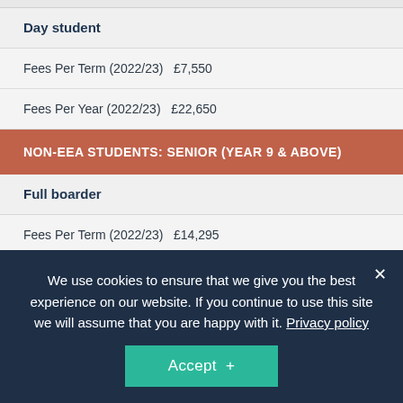Day student
Fees Per Term (2022/23)   £7,550
Fees Per Year (2022/23)   £22,650
NON-EEA STUDENTS: SENIOR (YEAR 9 & ABOVE)
Full boarder
Fees Per Term (2022/23)   £14,295
Fees Per Year (2022/23)   £42,885
Fees Per Term (2022/23)   £12,...
Fees Per Year (2022/23)   £36,405
Day student
We use cookies to ensure that we give you the best experience on our website. If you continue to use this site we will assume that you are happy with it. Privacy policy